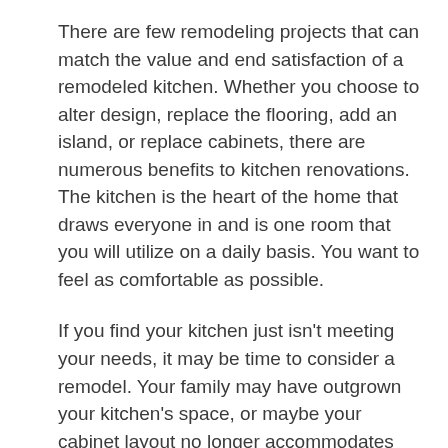There are few remodeling projects that can match the value and end satisfaction of a remodeled kitchen. Whether you choose to alter design, replace the flooring, add an island, or replace cabinets, there are numerous benefits to kitchen renovations. The kitchen is the heart of the home that draws everyone in and is one room that you will utilize on a daily basis. You want to feel as comfortable as possible.
If you find your kitchen just isn't meeting your needs, it may be time to consider a remodel. Your family may have outgrown your kitchen's space, or maybe your cabinet layout no longer accommodates your lifestyle. Regardless of your reasons, remodeling your kitchen is one of the best investments you can make to improving the value and enjoyment of your home.